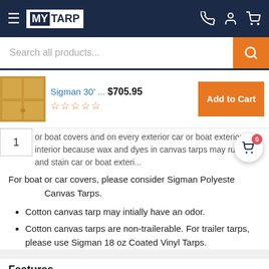MY TARP
Search all products...
[Figure (screenshot): Product thumbnail of a golden/tan canvas tarp]
Sigman 30' ... $705.95
Add to Cart
1
or boat covers and on every exterior car or boat exteriors or interior because wax and dyes in canvas tarps may rub off and stain car or boat exteri...
For boat or car covers, please consider Sigman Polyester Canvas Tarps.
Cotton canvas tarp may intially have an odor.
Cotton canvas tarps are non-trailerable. For trailer tarps, please use Sigman 18 oz Coated Vinyl Tarps.
Features
Breathable Water Resistant Treated Cotton Canvas Fabric. Reduces Water Condensation.